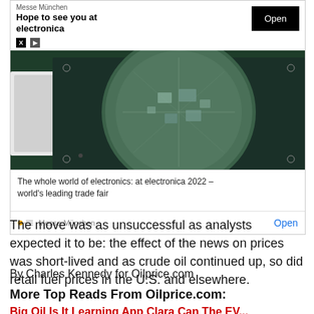[Figure (screenshot): Advertisement for Messe München electronica 2022 trade fair. Shows a circuit board wafer image with headline 'Hope to see you at electronica', an Open button, and caption 'The whole world of electronics: at electronica 2022 – world's leading trade fair']
The move was as unsuccessful as analysts expected it to be: the effect of the news on prices was short-lived and as crude oil continued up, so did retail fuel prices in the U.S. and elsewhere.
By Charles Kennedy for Oilprice.com
More Top Reads From Oilprice.com:
Big Oil Is It Learning App Clara Can The EV...